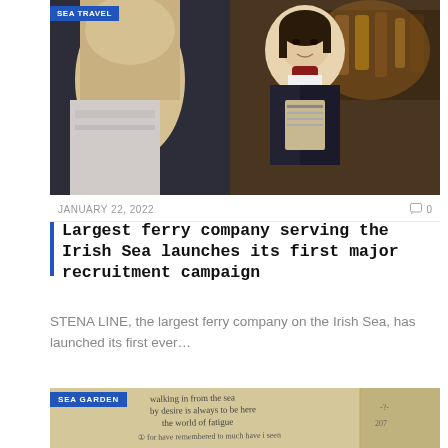[Figure (photo): A ferry company staff member in uniform holding a clipboard, speaking with a customer in a bar/lounge area on a ship]
SEA TRAVEL
JANUARY 22, 2022
0
Largest ferry company serving the Irish Sea launches its first major recruitment campaign
STENA LINE, the largest ferry company on the Irish Sea, has launched its first ever…
[Figure (photo): Handwritten notes on paper, partially visible, with text about walking from the sea]
SEA GARDEN